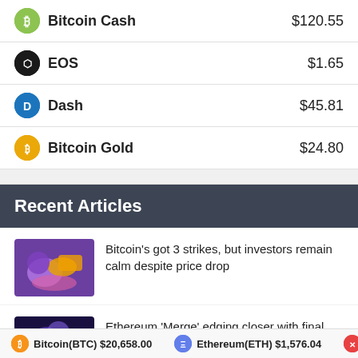Bitcoin Cash $120.55
EOS $1.65
Dash $45.81
Bitcoin Gold $24.80
Recent Articles
Bitcoin's got 3 strikes, but investors remain calm despite price drop
Ethereum 'Merge' edging closer with final Kiln
Bitcoin(BTC) $20,658.00   Ethereum(ETH) $1,576.04   XRP